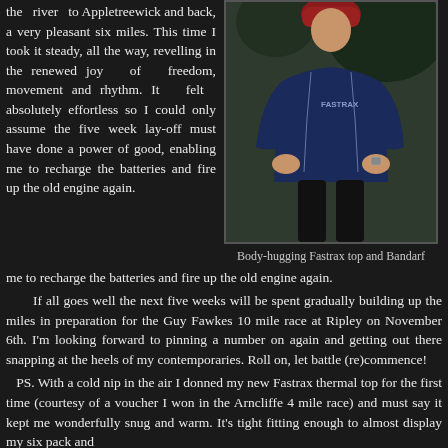the river to Appletreewick and back, a very pleasant six miles. This time I took it steady, all the way, revelling in the renewed joy of freedom, movement and rhythm. It felt absolutely effortless so I could only assume the five week lay-off must have done a power of good, enabling me to recharge the batteries and fire up the old engine again.
[Figure (photo): Man wearing a body-hugging Fastrax navy blue thermal running top and black tights, standing outdoors with hands on hips]
Body-hugging Fastrax top and Bandarf
If all goes well the next five weeks will be spent gradually building up the miles in preparation for the Guy Fawkes 10 mile race at Ripley on November 6th. I'm looking forward to pinning a number on again and getting out there snapping at the heels of my contemporaries. Roll on, let battle (re)commence!
PS. With a cold nip in the air I donned my new Fastrax thermal top for the first time (courtesy of a voucher I won in the Arncliffe 4 mile race) and must say it kept me wonderfully snug and warm. It's tight fitting enough to almost display my six pack and